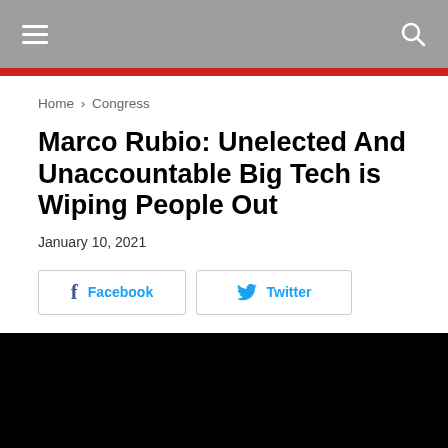Navigation bar with hamburger menu and search icon
Home › Congress
Marco Rubio: Unelected And Unaccountable Big Tech is Wiping People Out
January 10, 2021
[Figure (screenshot): Facebook and Twitter share buttons]
[Figure (photo): Black video player area]